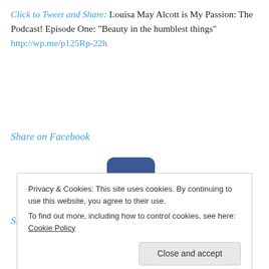Click to Tweet and Share: Louisa May Alcott is My Passion: The Podcast! Episode One: “Beauty in the humblest things” http://wp.me/p125Rp-22h
Share on Facebook
[Figure (logo): Facebook logo icon — blue rounded square with white lowercase f]
Share on Google+
[Figure (logo): Google+ logo icon — red circle with white g+ text]
Privacy & Cookies: This site uses cookies. By continuing to use this website, you agree to their use.
To find out more, including how to control cookies, see here: Cookie Policy
Close and accept